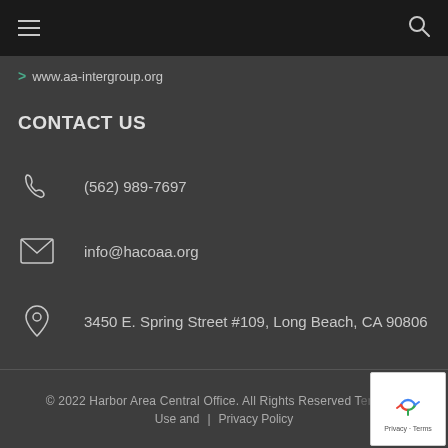≡  🔍
> www.aa-intergroup.org
CONTACT US
(562) 989-7697
info@hacoaa.org
3450 E. Spring Street #109, Long Beach, CA 90806
© 2022 Harbor Area Central Office. All Rights Reserved Terms of Use and | Privacy Policy